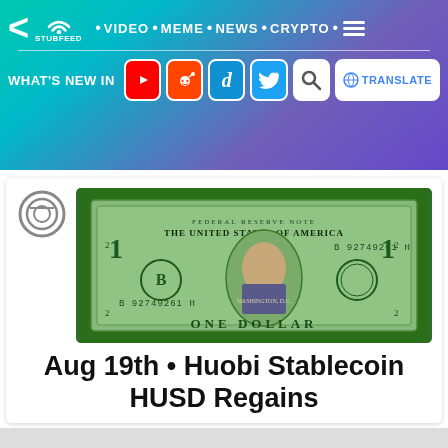StubFeed · VIDEO · MEME · NEWS · CRYPTO
WHAT'S NEW IN
[Figure (screenshot): US one dollar bill on green background]
Aug 19th • Huobi Stablecoin HUSD Regains